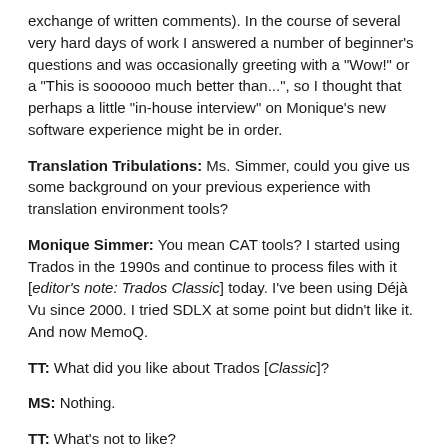exchange of written comments). In the course of several very hard days of work I answered a number of beginner's questions and was occasionally greeting with a "Wow!" or a "This is soooooo much better than...", so I thought that perhaps a little "in-house interview" on Monique's new software experience might be in order.
Translation Tribulations: Ms. Simmer, could you give us some background on your previous experience with translation environment tools?
Monique Simmer: You mean CAT tools? I started using Trados in the 1990s and continue to process files with it [editor's note: Trados Classic] today. I've been using Déjà Vu since 2000. I tried SDLX at some point but didn't like it. And now MemoQ.
TT: What did you like about Trados [Classic]?
MS: Nothing.
TT: What's not to like?